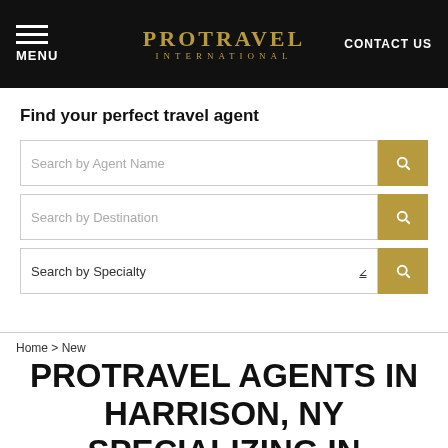PROTRAVEL INTERNATIONAL | MENU | CONTACT US
Find your perfect travel agent
Search by Agent Name
Search by Destination
Search by Specialty
Home > New
PROTRAVEL AGENTS IN HARRISON, NY SPECIALIZING IN SHOPPING